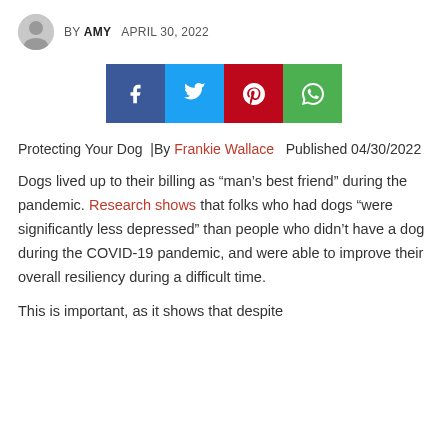BY AMY   APRIL 30, 2022
[Figure (infographic): Social sharing buttons: Facebook (blue), Twitter (light blue), Pinterest (red), WhatsApp (green)]
Protecting Your Dog  |By Frankie Wallace  Published 04/30/2022
Dogs lived up to their billing as “man’s best friend” during the pandemic. Research shows that folks who had dogs “were significantly less depressed” than people who didn’t have a dog during the COVID-19 pandemic, and were able to improve their overall resiliency during a difficult time.
This is important, as it shows that despite